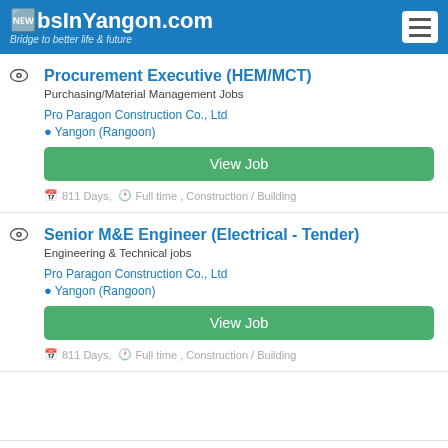JobsInYangon.com – Bridge to better life & future
Procurement Executive (HEM/MCT)
Purchasing/Material Management Jobs
Pro Paragon Construction Co., Ltd
Yangon (Rangoon)
View Job
811 Days, Full time , Construction / Building
Senior M&E Engineer (Electrical - Tender)
Engineering & Technical jobs
Pro Paragon Construction Co., Ltd
Yangon (Rangoon)
View Job
811 Days, Full time , Construction / Building